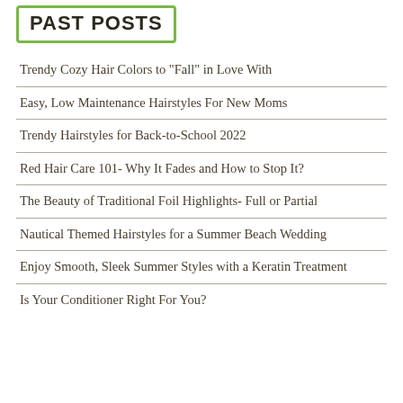PAST POSTS
Trendy Cozy Hair Colors to "Fall" in Love With
Easy, Low Maintenance Hairstyles For New Moms
Trendy Hairstyles for Back-to-School 2022
Red Hair Care 101- Why It Fades and How to Stop It?
The Beauty of Traditional Foil Highlights- Full or Partial
Nautical Themed Hairstyles for a Summer Beach Wedding
Enjoy Smooth, Sleek Summer Styles with a Keratin Treatment
Is Your Conditioner Right For You?